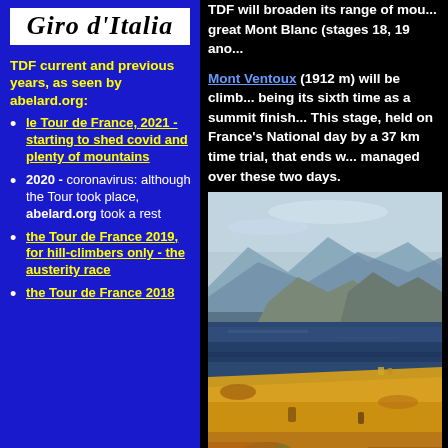[Figure (logo): Giro d'Italia logo in white box with black italic bold text]
TDF current and previous years, as seen by abelard.org:
le Tour de France, 2021 - starting to shed covid and plenty of mountains
2020 - coronavirus: although the Tour took place, abelard.org took a rest
the Tour de France 2019, for hill-climbers only - the austerity race
the Tour de France 2018
TDF will broaden its range of mountains to include the great Mont Blanc (stages 18, 19 and...)
Mont Ventoux (1912 m) will be climbed on stage 11, being its sixth time as a summit finish in the TDF. This stage, held on France's National day by a 37 km time trial, that ends w... managed over these two days.
[Figure (photo): Impressionist painting of a Mediterranean landscape with mountains, water, and ochre/orange foreground - likely Cézanne's view of Mont Sainte-Victoire or similar Provençal scene]